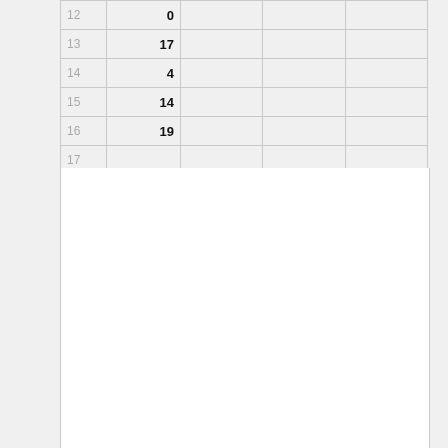| 12 | 0 |  |  |  |
| 13 | 17 |  |  |  |
| 14 | 4 |  |  |  |
| 15 | 14 |  |  |  |
| 16 | 19 |  |  |  |
| 17 |  |  |  |  |
| 18 |  |  |  |  |
| ... |  |  |  |  |